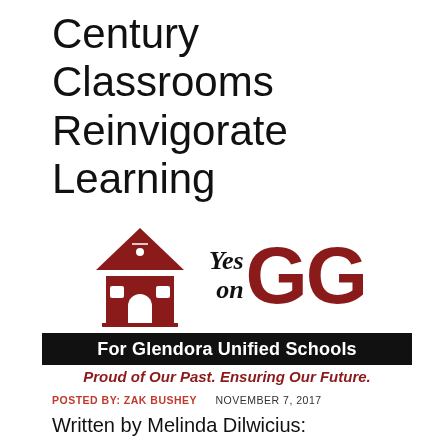Century Classrooms Reinvigorate Learning
[Figure (logo): Yes on GG logo for Glendora Unified Schools with a red schoolhouse icon, bold GG letters, black banner reading 'For Glendora Unified Schools', and italic red tagline 'Proud of Our Past. Ensuring Our Future.']
POSTED BY: ZAK BUSHEY   NOVEMBER 7, 2017
Written by Melinda Dilwicius: